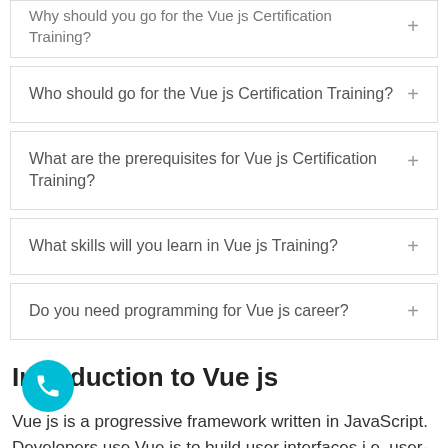Why should you go for the Vue js Certification Training? +
Who should go for the Vue js Certification Training? +
What are the prerequisites for Vue js Certification Training? +
What skills will you learn in Vue js Training? +
Do you need programming for Vue js career? +
Introduction to Vue js
Vue js is a progressive framework written in JavaScript. Developers use Vue js to build user interfaces i.e. user-friendly and successful applications. Codeship, NASA, Behance, and are the few of the companies that use Vue js and have seen a gradual improvement in user interface development and